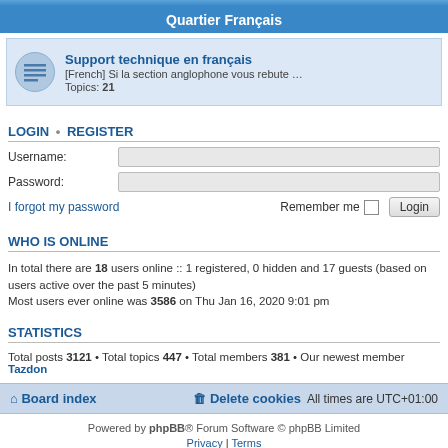Quartier Français
Support technique en français
[French] Si la section anglophone vous rebute … Topics: 21
LOGIN • REGISTER
Username:
Password:
I forgot my password  Remember me  Login
WHO IS ONLINE
In total there are 18 users online :: 1 registered, 0 hidden and 17 guests (based on users active over the past 5 minutes)
Most users ever online was 3586 on Thu Jan 16, 2020 9:01 pm
STATISTICS
Total posts 3121 • Total topics 447 • Total members 381 • Our newest member Tazdon
Board index  Delete cookies  All times are UTC+01:00
Powered by phpBB® Forum Software © phpBB Limited
Privacy | Terms